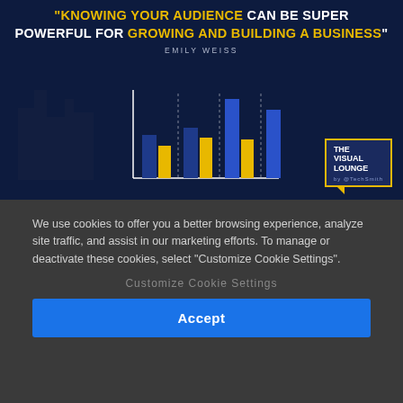[Figure (infographic): Dark navy background banner with a bold quote in white and gold uppercase text reading: "KNOWING YOUR AUDIENCE CAN BE SUPER POWERFUL FOR GROWING AND BUILDING A BUSINESS" attributed to EMILY WEISS. A grouped bar chart with blue and yellow bars is shown in the lower portion. A 'THE VISUAL LOUNGE by @TechSmith' logo appears bottom right.]
We use cookies to offer you a better browsing experience, analyze site traffic, and assist in our marketing efforts. To manage or deactivate these cookies, select "Customize Cookie Settings".
Customize Cookie Settings
Accept